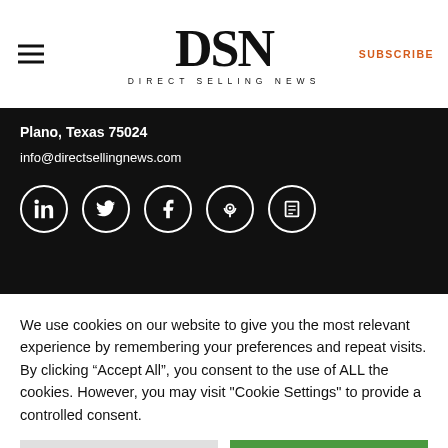DSN DIRECT SELLING NEWS SUBSCRIBE
Plano, Texas 75024
info@directsellingnews.com
[Figure (other): Social media icons: LinkedIn, Twitter, Facebook, Podcast, and a list/magazine icon, displayed as white icons in circular outlines on black background]
We use cookies on our website to give you the most relevant experience by remembering your preferences and repeat visits. By clicking “Accept All”, you consent to the use of ALL the cookies. However, you may visit "Cookie Settings" to provide a controlled consent.
Cookie Settings | Accept All